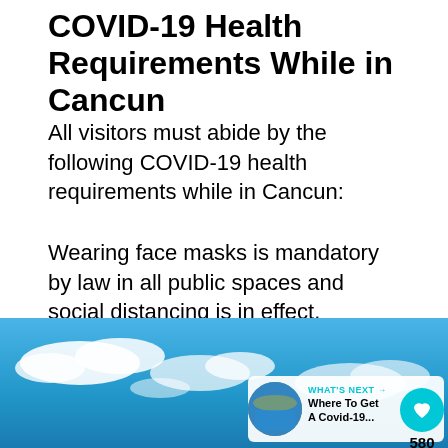COVID-19 Health Requirements While in Cancun
All visitors must abide by the following COVID-19 health requirements while in Cancun:
Wearing face masks is mandatory by law in all public spaces and social distancing is in effect. Facemasks are also required in all public spaces in Playa Del Carmen.
[Figure (photo): Blue sky with white clouds photograph, partially visible at the bottom of the page. A 'What's Next' overlay appears in the bottom-right corner showing a thumbnail of a coastal aerial photo and text 'Where To Get A Covid-19...']